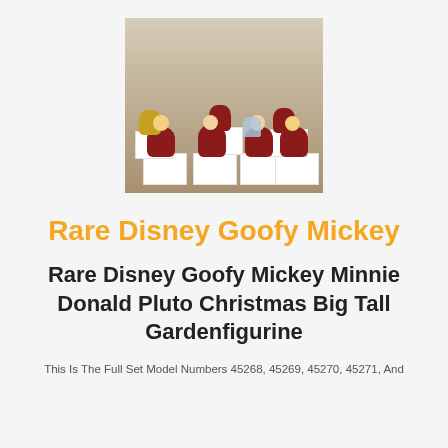[Figure (photo): A photo of a set of Disney character Christmas garden figurines (Goofy, Mickey, Minnie, Donald, Pluto) in Santa outfits, displayed on white boxes on a light surface.]
Rare Disney Goofy Mickey
Rare Disney Goofy Mickey Minnie Donald Pluto Christmas Big Tall Gardenfigurine
This Is The Full Set Model Numbers 45268, 45269, 45270, 45271, And